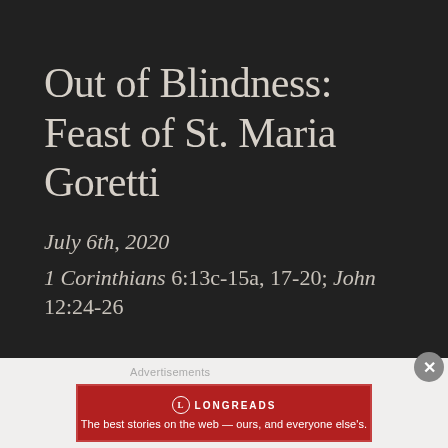Out of Blindness: Feast of St. Maria Goretti
July 6th, 2020
1 Corinthians 6:13c-15a, 17-20; John 12:24-26
[Figure (other): Longreads advertisement banner: red background with Longreads logo and tagline 'The best stories on the web — ours, and everyone else's.']